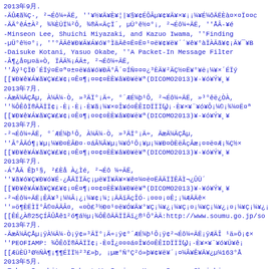2013年9月.
-ÃÛÆã¾Ç·, ²¬Éô¼÷ÃË, ''¥½¥Ó¥È¥¦|¥§¥¢ÉÔÂµ¥¢¥Ã¥×¥¡¡¼¥É¼ÔÃËÈà×¤Ïc
-ÃÃ°êÁ±À², ¾¾ÈÜÏ¼²Ô, ¾®Ã«ÃçÏ´, µÜ°ê½¤°¡, ²¬Éô¼÷ÃË, ''Å»Ò¥é
-Minseon Lee, Shuichi Miyazaki, and Kazuo Iwama, ''Finding
-µÜ°ê½¤°¡, ''°ÃÄê¥Ð¥Ã¥Á¥ó¥°ÌäÃê¤ËÃÐ¤¹¤ë¥¢¥ë¥´´¥ê¥°àÏÀÃã¥¢×
-Daisuke Kotani, Yasuo Okabe, ''A Packet-In Message Filter
-Â¶¿å¤µ¤ä»Ò, ÏÃÄ¾¡ÁÃ±, ²¬Éô¼÷ÃË,
''Åý¹ÇÏÐ´ÉÏý¤Ë¤ª¤±¤ë¥á¥ó¥ÐÃ°Â¤¤ÍÑ¤¤¿³ÈÄ¥²ÄÇ½¤Ë¥°¥ë¡¼¥×´ÉÏý
[[¥Ð¥ê¥Á¥ã¥Ç¥£¥¢¡¤Ê¬»¶¡¤¤¢¤ÈÈ¥â¥Ð¥ë¥ê(DICOMO2013)¥·¥ó¥Ý¥¸¥
2013年7月.
-ÃæÃ¼ÃÇÅµ, À¾Ã¼·Ò, »³ÃÏ°¡Ä÷, °´ÆÉ¼þ¹Ô, ²¬Éô¼÷ÃË, »³°êë¿ÒÀ,
''¾ÔÊôÏ®ÃÄÏϢ¡·È¤Î¿¤¤¤á¤Î¥ã¡¼¥×¤Î¥ó¤ÊÊIDÏϢ¡·È¥×¥¨¥ó¥Ô¡¼©¡¾¼¤Ë¤ª
[[¥Ð¥ê¥Á¥ã¥Ç¥£¥¢¡¤Ê¬»¶¡¤¤¢¤ÈÈ¥â¥Ð¥ë¥ê(DICOMO2013)¥·¥ó¥Ý¥¸¥
2013年7月.
-²¬Éô¼÷ÃË, °´ÆÉ¼þ¹Ô, À¾Ã¼·Ò, »³ÃÏ°¡Ä÷, ÃæÃ¼ÃÇÅµ,
''Â°ÂÃÓ¶¡¥µ¡¼¥Ð¤ÈÂÐ¤·¤áÂ¾Â¥µ¡¼¥Ó¹Ô¡¥µ¡¼¥Ð¤ÒÈëÂçÂæ¡¤¤ë¤Æ¡¾Ç½×
[[¥Ð¥ê¥Á¥ã¥Ç¥£¥¢¡¤Ê¬»¶¡¤¤¢¤ÈÈ¥â¥Ð¥ë¥ê(DICOMO2013)¥·¥ó¥Ý¥¸¥
2013年7月.
-Á°ÅÃ Êþ¹§, ²£Èå À¿Ìé, ²¬Éô ¼÷ÃË,
''¥ã¥ó¥Ç¥Ð¥ó¥É·¿ÅÃÏÏÄç¡µë¥Ï¥Ã¥×¥ê¤¼¤ë¤ËÃÄÏÏÊÃÌ¬¿ÛÜ´
[[¥Ð¥ê¥Á¥ã¥Ç¥£¥¢¡¤Ê¬»¶¡¤¤¢¤ÈÈ¥â¥Ð¥ë¥ê(DICOMO2013)¥·¥ó¥Ý¥¸¥
-²¬Éô¼÷ÃˡÊÄ¥³¡¼¼Â¡¿¡¼¥¢¡¡¼;¡¡ÃÄïÄçÎÓ·­¡¤¤¤¡¤Ê;¡¼ÆÃÄê×
''»ö¶ÈËÌÏ°Â©¤ÃÄÂ¤, «¤Ò£³½Ð¤¹¤ë¥Ó¥Ã¥°¥Ç¡¼¥¿¡¼¥Ç¡¤¡¼¥Ç¡¼¥¿¡¤¡¼¥Ç¡¼¥¿¡¤''
[[ÊÉ¿À®25ÇÍÂÛÅê1²ó¶á½µ¡¾ÔÊôÃÄÏï¿®¹Ô°ÀÃ:http://www.soumu.go.jp/so
2013年7月.
-ÃæÃ¼ÃÇÅµ¡ÿÀ¾Ã¼·Ò¡ÿ¢»³ÃÏ°¡Ä÷¡ÿ¢°´ÆÉ¼þ¹Ô¡ÿ¢²¬Éô¼÷ÃˡÿÆÄÎ ¹ä»Ö¡¢×
''PEOFIAMP: ¾ÔÊôÏ®ÃÄÏÏϢ¡·È¤Î¿¤¤¤á¤Î¥ó¤ÊÊIDÏϢ¡·È¥×¥¨¥ó¥Ü¥ê¡
[[ÆüÈÜ³Ø½ÑÀ¦¡¶¶ÉÏÏ½²ñ»þ, ¡µæ°Ñ°÷²ñ»þ¥¢¥ë¥´¡¤¼Â¥Ê¥Ã¥¿µ¼163°Å
2013年5月.
-Takao Inoshita, Robert W. Irving, Kazuo Iwama, Shuichi